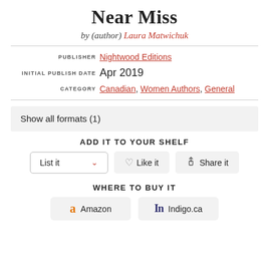Near Miss
by (author) Laura Matwichuk
| Field | Value |
| --- | --- |
| PUBLISHER | Nightwood Editions |
| INITIAL PUBLISH DATE | Apr 2019 |
| CATEGORY | Canadian, Women Authors, General |
Show all formats (1)
ADD IT TO YOUR SHELF
List it
Like it
Share it
WHERE TO BUY IT
Amazon
Indigo.ca